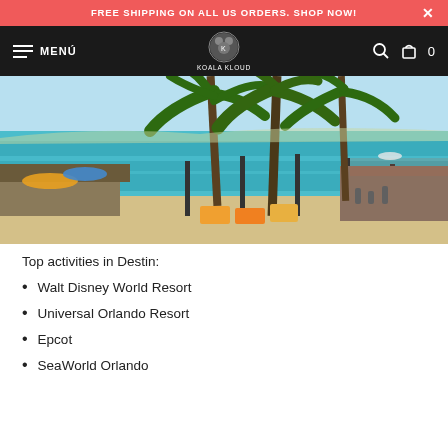FREE SHIPPING ON ALL US ORDERS. SHOP NOW!
MENÚ  KOALA KLOUD  0
[Figure (photo): Beach scene in Destin with palm trees, turquoise water, boat dock with poles, beach chairs and colorful umbrellas, waterfront buildings on left and right]
Top activities in Destin:
Walt Disney World Resort
Universal Orlando Resort
Epcot
SeaWorld Orlando